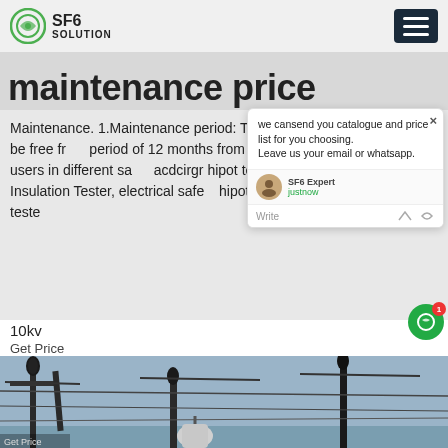SF6 SOLUTION
maintenance price
Maintenance. 1.Maintenance period: The instrument is warranted to be free from defects for a period of 12 months from the date of purchase by the original end users in different sa... acdcirgr hipot tester, Withstand Voltage Tester, Insulation Tester, electrical safety... hipot and insulation resistance tester...
10kv
Get Price
[Figure (photo): Power transmission equipment with high voltage insulators and electrical towers against a sky background]